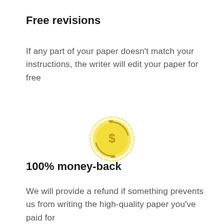Free revisions
If any part of your paper doesn't match your instructions, the writer will edit your paper for free
[Figure (illustration): A gold/yellow coin icon with a dollar sign in the center and circular arrows around it, indicating a money-back or refund concept]
100% money-back
We will provide a refund if something prevents us from writing the high-quality paper you've paid for